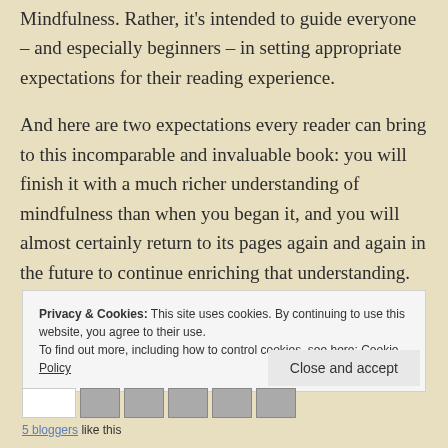Mindfulness. Rather, it's intended to guide everyone – and especially beginners – in setting appropriate expectations for their reading experience.
And here are two expectations every reader can bring to this incomparable and invaluable book: you will finish it with a much richer understanding of mindfulness than when you began it, and you will almost certainly return to its pages again and again in the future to continue enriching that understanding.
Privacy & Cookies: This site uses cookies. By continuing to use this website, you agree to their use.
To find out more, including how to control cookies, see here: Cookie Policy
Close and accept
5 bloggers like this